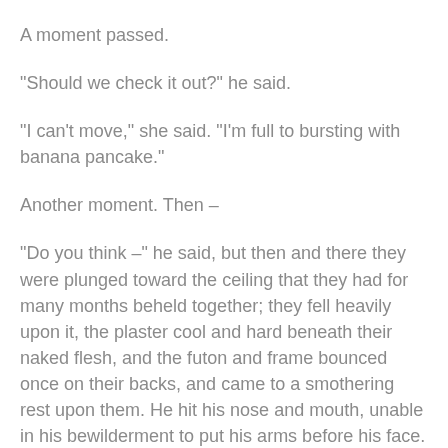A moment passed.
"Should we check it out?" he said.
"I can't move," she said. "I'm full to bursting with banana pancake."
Another moment. Then –
"Do you think –" he said, but then and there they were plunged toward the ceiling that they had for many months beheld together; they fell heavily upon it, the plaster cool and hard beneath their naked flesh, and the futon and frame bounced once on their backs, and came to a smothering rest upon them. He hit his nose and mouth, unable in his bewilderment to put his arms before his face. She fell a bit more on her shoulder, as she'd been facing him a little in their bed, her hand on his chest. They thrashed and cursed beneath their burden.
"Jesus!"